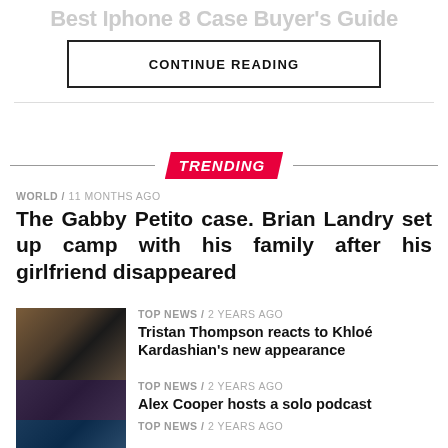Best Iphone 8 Case Buyer's Guide
CONTINUE READING
TRENDING
WORLD / 11 months ago
The Gabby Petito case. Brian Landry set up camp with his family after his girlfriend disappeared
[Figure (photo): Thumbnail photo of two people]
TOP NEWS / 2 years ago
Tristan Thompson reacts to Khloé Kardashian's new appearance
[Figure (photo): Thumbnail photo of group of people]
TOP NEWS / 2 years ago
Alex Cooper hosts a solo podcast
[Figure (photo): Thumbnail photo, partial view]
TOP NEWS / 2 years ago